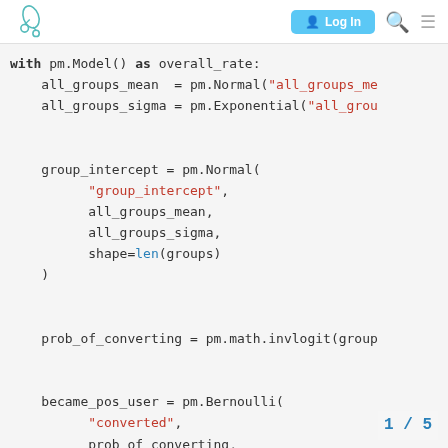Log In [navigation header with logo]
with pm.Model() as overall_rate:
    all_groups_mean  = pm.Normal("all_groups_me
    all_groups_sigma = pm.Exponential("all_grou

    group_intercept = pm.Normal(
            "group_intercept",
            all_groups_mean,
            all_groups_sigma,
            shape=len(groups)
    )


    prob_of_converting = pm.math.invlogit(group


    became_pos_user = pm.Bernoulli(
            "converted",
            prob_of_converting,
            observed=model_df[conversion column]
    )
1 / 5